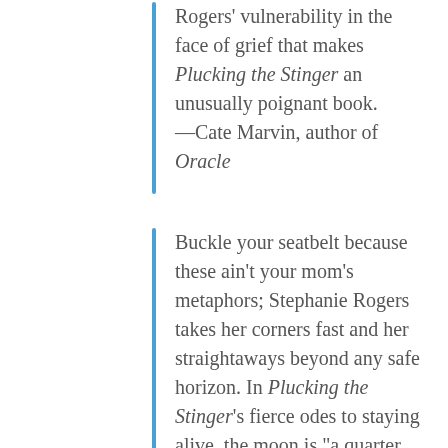Rogers’ vulnerability in the face of grief that makes Plucking the Stinger an unusually poignant book.
—Cate Marvin, author of Oracle
Buckle your seatbelt because these ain’t your mom’s metaphors; Stephanie Rogers takes her corners fast and her straightaways beyond any safe horizon. In Plucking the Stinger’s fierce odes to staying alive, the moon is “a quarter soaked in lard / and taped to a chalkboard,” or “a rag / dried stiff on a clothesline,” but beauty, and all attempted reconciliations with childhood and fate, in general, and with the suicide of a brother-in-law, in particular, find their place in